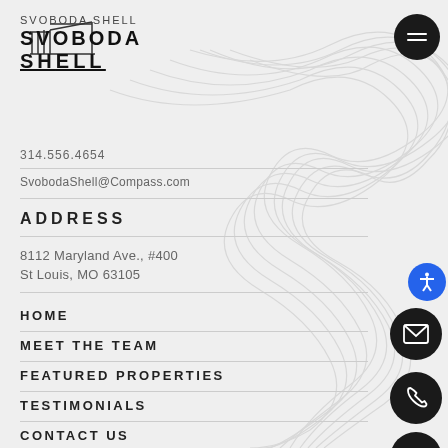[Figure (logo): Svoboda Shell architectural logo with building outline and company name stacked]
SVOBODA SHELL
SVOBODA
SHELL
314.556.4654
SvobodaShell@Compass.com
ADDRESS
8112 Maryland Ave., #400
St Louis, MO 63105
HOME
MEET THE TEAM
FEATURED PROPERTIES
TESTIMONIALS
CONTACT US